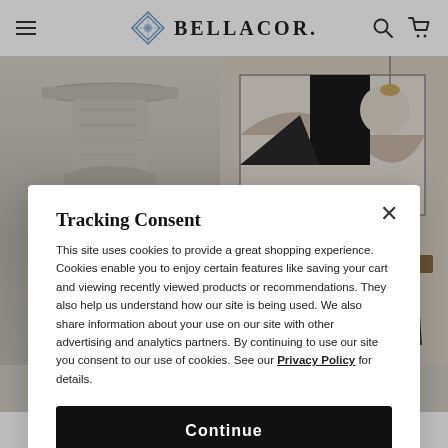BELLACOR.
[Figure (screenshot): Bellacor e-commerce website background showing furniture product images — a decorative stone pedestal table base on the left, and a styled dining room scene on the right.]
Tracking Consent
This site uses cookies to provide a great shopping experience. Cookies enable you to enjoy certain features like saving your cart and viewing recently viewed products or recommendations. They also help us understand how our site is being used. We also share information about your use on our site with other advertising and analytics partners. By continuing to use our site you consent to our use of cookies. See our Privacy Policy for details.
Continue